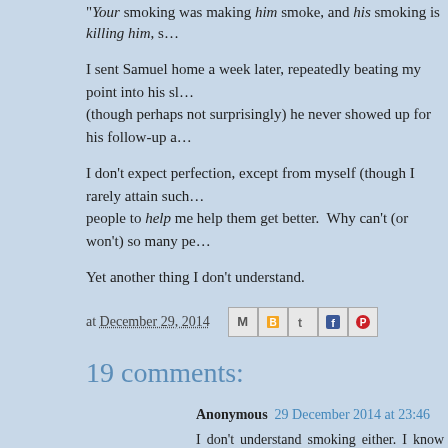"Your smoking was making him smoke, and his smoking is killing him, s...
I sent Samuel home a week later, repeatedly beating my point into his sl... (though perhaps not surprisingly) he never showed up for his follow-up a...
I don't expect perfection, except from myself (though I rarely attain such... people to help me help them get better. Why can't (or won't) so many pe...
Yet another thing I don't understand.
at December 29, 2014
19 comments:
Anonymous 29 December 2014 at 23:46
I don't understand smoking either. I know most people start be... faking IDs, getting older smoke-buddies to buying for them, rebell against your parents at that age. But why would you then...
By all means, wear jeans ten sizes to large around your kne... grow your hair out, gel it up to new hights and dye it in crazy... causes your parents' ears to bleed, but don't start smoking!